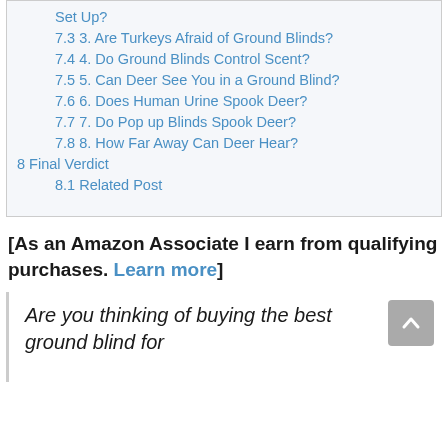Set Up?
7.3 3. Are Turkeys Afraid of Ground Blinds?
7.4 4. Do Ground Blinds Control Scent?
7.5 5. Can Deer See You in a Ground Blind?
7.6 6. Does Human Urine Spook Deer?
7.7 7. Do Pop up Blinds Spook Deer?
7.8 8. How Far Away Can Deer Hear?
8 Final Verdict
8.1 Related Post
[As an Amazon Associate I earn from qualifying purchases. Learn more]
Are you thinking of buying the best ground blind for